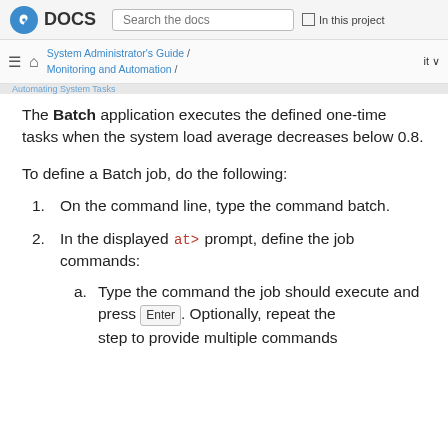Fedora DOCS | Search the docs | In this project
System Administrator's Guide / Monitoring and Automation / Automating System Tasks
The Batch application executes the defined one-time tasks when the system load average decreases below 0.8.
To define a Batch job, do the following:
1. On the command line, type the command batch.
2. In the displayed at> prompt, define the job commands:
a. Type the command the job should execute and press Enter. Optionally, repeat the step to provide multiple commands